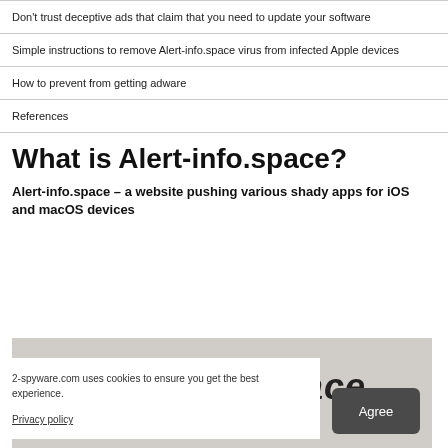Don't trust deceptive ads that claim that you need to update your software
Simple instructions to remove Alert-info.space virus from infected Apple devices
How to prevent from getting adware
References
What is Alert-info.space?
Alert-info.space – a website pushing various shady apps for iOS and macOS devices
[Figure (photo): Image of Alert-info.space website title/logo text on a grey textured background]
2-spyware.com uses cookies to ensure you get the best experience.
Privacy policy
Agree